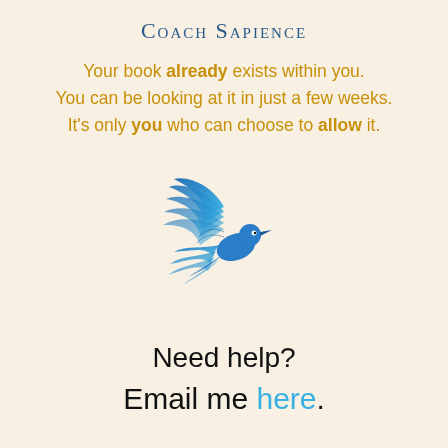Coach Sapience
Your book already exists within you. You can be looking at it in just a few weeks. It's only you who can choose to allow it.
[Figure (logo): Blue stylized bird (dove/sparrow) logo with layered wing feathers in gradient blue tones, flying upward to the right]
Need help?
Email me here.